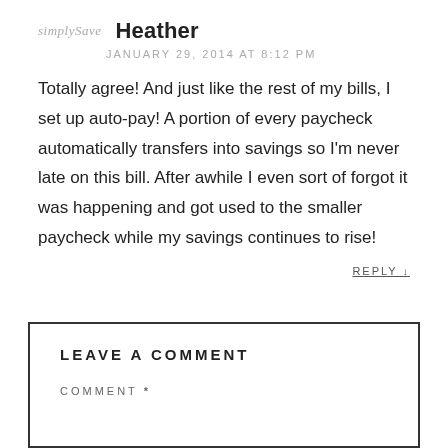simply save  Heather
JANUARY 29, 2014 AT 8:12 PM
Totally agree! And just like the rest of my bills, I set up auto-pay! A portion of every paycheck automatically transfers into savings so I'm never late on this bill. After awhile I even sort of forgot it was happening and got used to the smaller paycheck while my savings continues to rise!
REPLY ↓
LEAVE A COMMENT
COMMENT *